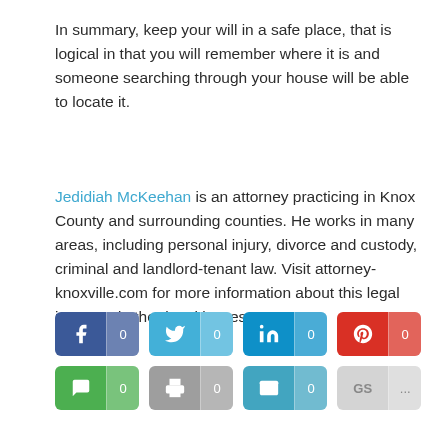In summary, keep your will in a safe place, that is logical in that you will remember where it is and someone searching through your house will be able to locate it.
Jedidiah McKeehan is an attorney practicing in Knox County and surrounding counties. He works in many areas, including personal injury, divorce and custody, criminal and landlord-tenant law. Visit attorney-knoxville.com for more information about this legal issue and other legal issues.
[Figure (infographic): Social share buttons: Facebook (0), Twitter (0), LinkedIn (0), Pinterest (0), SMS (0), Print (0), Email (0), GS (...)]